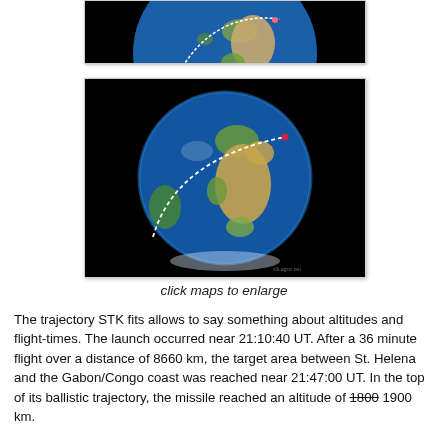[Figure (map): Partial globe map with black background showing a trajectory arc over Earth, cropped at top of page]
[Figure (map): Full globe map with black background showing Earth centered on Africa/Atlantic with a white curved trajectory arc from lower left to upper right, and a small red marker]
click maps to enlarge
The trajectory STK fits allows to say something about altitudes and flight-times. The launch occurred near 21:10:40 UT. After a 36 minute flight over a distance of 8660 km, the target area between St. Helena and the Gabon/Congo coast was reached near 21:47:00 UT. In the top of its ballistic trajectory, the missile reached an altitude of 1800 1900 km.